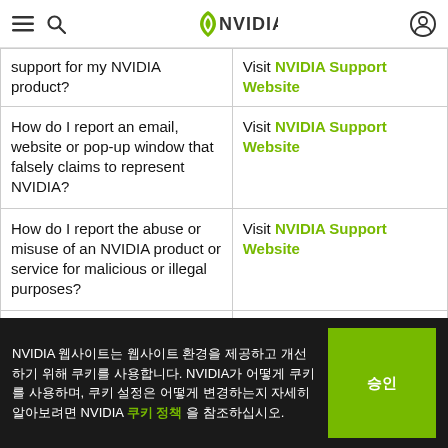NVIDIA
| Question | Answer |
| --- | --- |
| support for my NVIDIA product? | Visit NVIDIA Support Website |
| How do I report an email, website or pop-up window that falsely claims to represent NVIDIA? | Visit NVIDIA Support Website |
| How do I report the abuse or misuse of an NVIDIA product or service for malicious or illegal purposes? | Visit NVIDIA Support Website |
| How do I report software |  |
NVIDIA 웹사이트는 웹사이트 환경을 제공하고 개선하기 위해 쿠키를 사용합니다. NVIDIA가 어떻게 쿠키를 사용하며, 쿠키 설정은 어떻게 변경하는지 자세히 알아보려면 NVIDIA 쿠키 정책 을 참조하십시오.